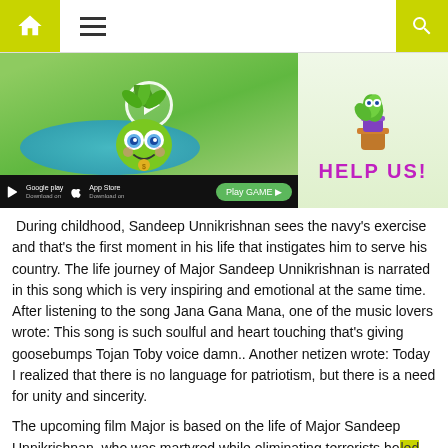[Figure (screenshot): Navigation bar with home icon (yellow-green background), hamburger menu, and search icon (yellow-green background)]
[Figure (screenshot): Animated game advertisement image with a green creature character, play button overlay, Google Play and App Store badges, Play GAME button, and a side panel showing a potted plant with 'HELP US!' text]
During childhood, Sandeep Unnikrishnan sees the navy's exercise and that's the first moment in his life that instigates him to serve his country. The life journey of Major Sandeep Unnikrishnan is narrated in this song which is very inspiring and emotional at the same time. After listening to the song Jana Gana Mana, one of the music lovers wrote: This song is such soulful and heart touching that's giving goosebumps Tojan Toby voice damn.. Another netizen wrote: Today I realized that there is no language for patriotism, but there is a need for unity and sincerity.
The upcoming film Major is based on the life of Major Sandeep Unnikrishnan, who was martyred while eliminating terrorists holed up in Taj hotel during 2008 Mumbai attacks. Adivi Sesh starrer is directed